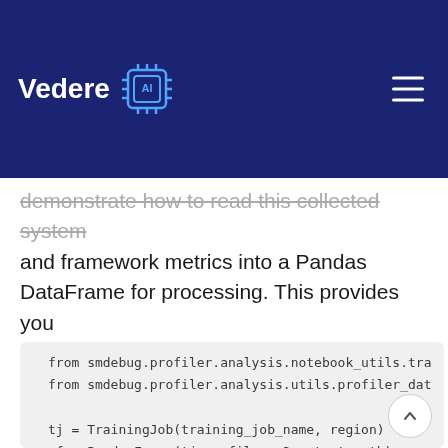[Figure (logo): Vedere AI logo with stylized chip icon on dark navy background with hamburger menu icon]
demonstrate how to read this collected system and framework metrics into a Pandas DataFrame for processing. This provides you flexibility in analyzing issues.
from smdebug.profiler.analysis.notebook_utils.tra
from smdebug.profiler.analysis.utils.profiler_dat

tj = TrainingJob(training_job_name, region)
pf = PandasFrame(tj.profiler_s3_output_path)
system_metrics_df = pf.get_all_system_metrics()
framework_metrics_df = pf.get_all_framework_mets;